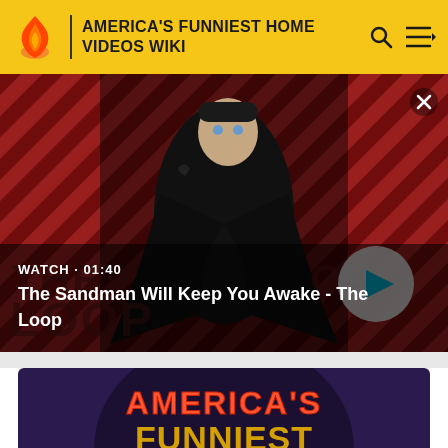AMERICA'S FUNNIEST HOME VIDEOS WIKI
[Figure (screenshot): Video thumbnail showing a dark-cloaked figure with a raven on shoulder against a red diagonal striped background. Text overlay: WATCH • 01:40 / The Sandman Will Keep You Awake - The Loop. White circular play button visible on right.]
[Figure (screenshot): Partial thumbnail showing America's Funniest Home Videos logo text on purple/dark circular background]